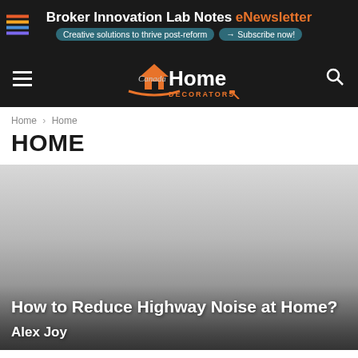[Figure (screenshot): Ad banner: Broker Innovation Lab Notes eNewsletter - Creative solutions to thrive post-reform - Subscribe now!]
Canada Home Decorators - navigation bar with hamburger menu and search icon
Home › Home
HOME
[Figure (photo): Feature image with gradient background (light gray to dark gray), with overlay text showing article title and author]
How to Reduce Highway Noise at Home?
Alex Joy